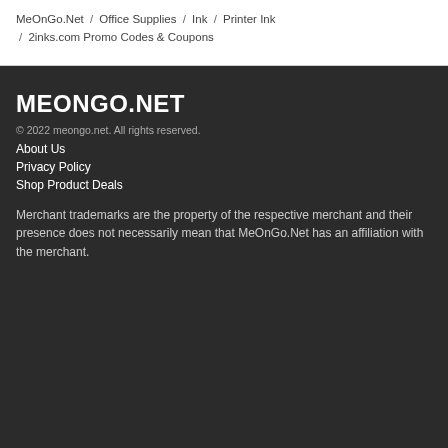MeOnGo.Net / Office Supplies / Ink / Printer Ink / 2inks.com Promo Codes & Coupons
MEONGO.NET
© 2022 meongo.net. All rights reserved.
About Us
Privacy Policy
Shop Product Deals
Merchant trademarks are the property of the respective merchant and their presence does not necessarily mean that MeOnGo.Net has an affiliation with the merchant.